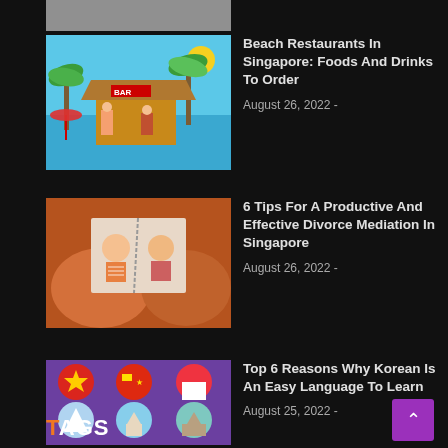[Figure (photo): Partial thumbnail image at top, cut off]
[Figure (illustration): Beach restaurant illustration with bar, palm trees, cartoon figures]
Beach Restaurants In Singapore: Foods And Drinks To Order
August 26, 2022 -
[Figure (illustration): Illustration of hands holding a torn photograph of a couple]
6 Tips For A Productive And Effective Divorce Mediation In Singapore
August 26, 2022 -
[Figure (illustration): Collage of Asian country flags and landmark images in circles on purple background]
Top 6 Reasons Why Korean Is An Easy Language To Learn
August 25, 2022 -
TAGS